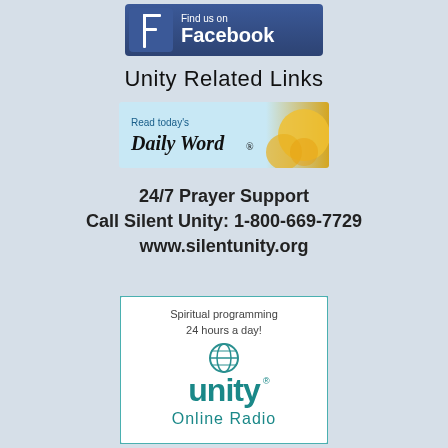[Figure (logo): Find us on Facebook banner with Facebook logo]
Unity Related Links
[Figure (illustration): Read today's Daily Word banner with sunflower image]
24/7 Prayer Support
Call Silent Unity: 1-800-669-7729
www.silentunity.org
[Figure (logo): Unity Online Radio banner - Spiritual programming 24 hours a day!]